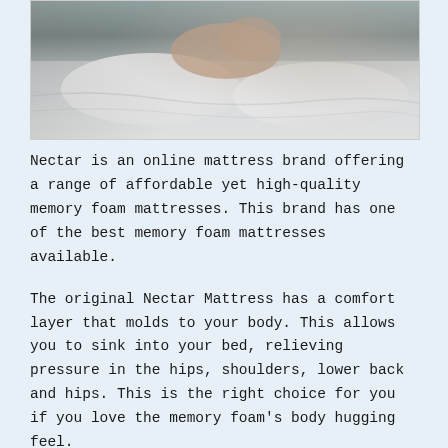[Figure (photo): Photo of a person sleeping or resting in a bed with white bedding and pillows, viewed from above/side angle.]
Nectar is an online mattress brand offering a range of affordable yet high-quality memory foam mattresses. This brand has one of the best memory foam mattresses available.
The original Nectar Mattress has a comfort layer that molds to your body. This allows you to sink into your bed, relieving pressure in the hips, shoulders, lower back and hips. This is the right choice for you if you love the memory foam's body hugging feel.
If you want to know whether or not a Nectar mattress is worth the buy, then read on! We'll go through who Nectar mattresses are for, mattress performance, construction, pricing and sizing, and more.